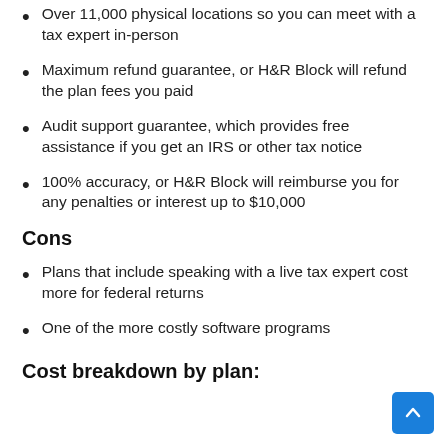Over 11,000 physical locations so you can meet with a tax expert in-person
Maximum refund guarantee, or H&R Block will refund the plan fees you paid
Audit support guarantee, which provides free assistance if you get an IRS or other tax notice
100% accuracy, or H&R Block will reimburse you for any penalties or interest up to $10,000
Cons
Plans that include speaking with a live tax expert cost more for federal returns
One of the more costly software programs
Cost breakdown by plan: